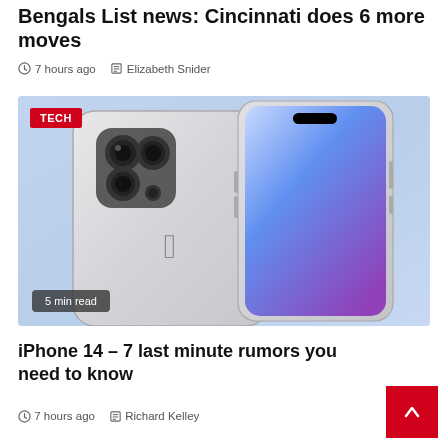Bengals List news: Cincinnati does 6 more moves
7 hours ago   Elizabeth Snider
[Figure (photo): Two iPhones (iPhone 14 Pro) shown from the back and front, with a light blue gradient background. A red TECH badge is in the top-left corner and a '5 min read' badge is in the bottom-left corner.]
iPhone 14 – 7 last minute rumors you need to know
7 hours ago   Richard Kelley